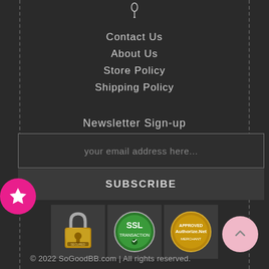[Figure (illustration): Small decorative icon/logo at top center]
Contact Us
About Us
Store Policy
Shipping Policy
Newsletter Sign-up
your email address here...
SUBSCRIBE
[Figure (logo): Security padlock badge]
[Figure (logo): SSL Transaction badge]
[Figure (logo): Authorize.Net approved merchant badge]
© 2022 SoGoodBB.com | All rights reserved.